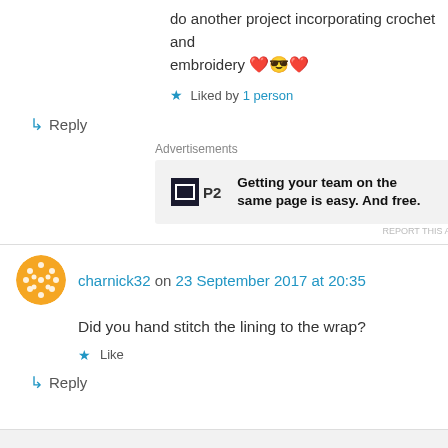do another project incorporating crochet and embroidery ❤️😎❤️
★ Liked by 1 person
↳ Reply
Advertisements
[Figure (other): P2 advertisement banner: Getting your team on the same page is easy. And free.]
REPORT THIS AD
charnick32 on 23 September 2017 at 20:35
Did you hand stitch the lining to the wrap?
★ Like
↳ Reply